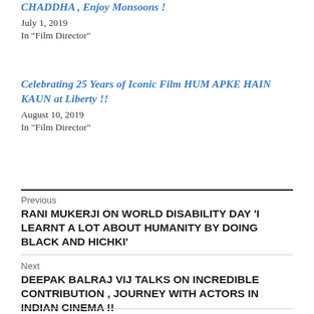CHADDHA , Enjoy Monsoons !
July 1, 2019
In "Film Director"
Celebrating 25 Years of Iconic Film HUM APKE HAIN KAUN at Liberty !!
August 10, 2019
In "Film Director"
Previous
RANI MUKERJI ON WORLD DISABILITY DAY 'I LEARNT A LOT ABOUT HUMANITY BY DOING BLACK AND HICHKI'
Next
DEEPAK BALRAJ VIJ TALKS ON INCREDIBLE CONTRIBUTION , JOURNEY WITH ACTORS IN INDIAN CINEMA !!